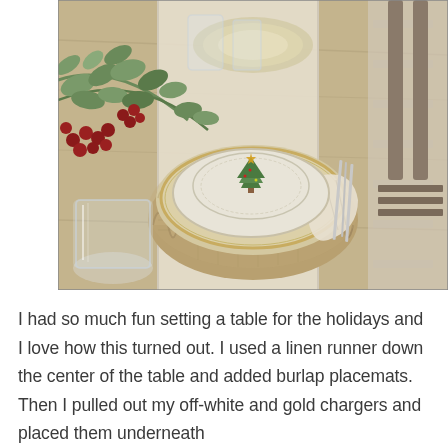[Figure (photo): Overhead angle photo of a holiday table setting featuring stacked plates (a burlap ruffled charger, an off-white/gold charger, and a Christmas tree patterned salad plate), a linen runner, eucalyptus greenery and red berry stems as a centerpiece, clear glassware, and rustic wooden chairs in the background.]
I had so much fun setting a table for the holidays and I love how this turned out. I used a linen runner down the center of the table and added burlap placemats. Then I pulled out my off-white and gold chargers and placed them underneath